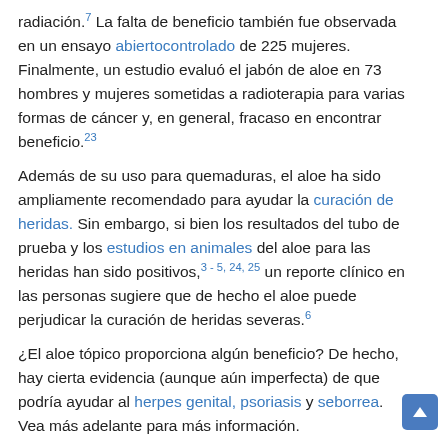radiación.7 La falta de beneficio también fue observada en un ensayo abierto controlado de 225 mujeres. Finalmente, un estudio evaluó el jabón de aloe en 73 hombres y mujeres sometidas a radioterapia para varias formas de cáncer y, en general, fracaso en encontrar beneficio.23
Además de su uso para quemaduras, el aloe ha sido ampliamente recomendado para ayudar la curación de heridas. Sin embargo, si bien los resultados del tubo de prueba y los estudios en animales del aloe para las heridas han sido positivos,3 - 5, 24, 25 un reporte clínico en las personas sugiere que de hecho el aloe puede perjudicar la curación de heridas severas.6
¿El aloe tópico proporciona algún beneficio? De hecho, hay cierta evidencia (aunque aún imperfecta) de que podría ayudar al herpes genital, psoriasis y seborrea. Vea más adelante para más información.
El gel de aloe también ha sido probado como